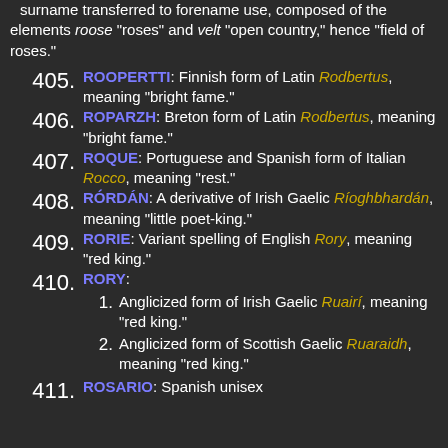surname transferred to forename use, composed of the elements roose "roses" and velt "open country," hence "field of roses."
405. ROOPERTTI: Finnish form of Latin Rodbertus, meaning "bright fame."
406. ROPARZH: Breton form of Latin Rodbertus, meaning "bright fame."
407. ROQUE: Portuguese and Spanish form of Italian Rocco, meaning "rest."
408. RÓRDÁN: A derivative of Irish Gaelic Ríoghbhardán, meaning "little poet-king."
409. RORIE: Variant spelling of English Rory, meaning "red king."
410. RORY: 1. Anglicized form of Irish Gaelic Ruairí, meaning "red king." 2. Anglicized form of Scottish Gaelic Ruaraidh, meaning "red king."
411. ROSARIO: Spanish unisex